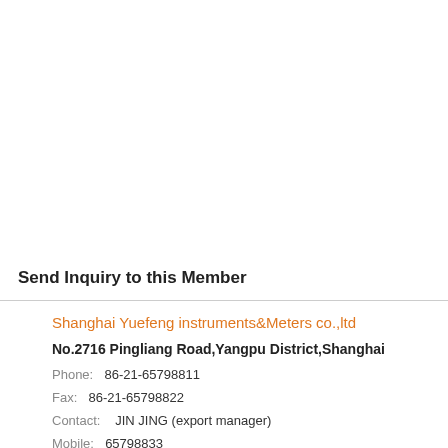Send Inquiry to this Member
Shanghai Yuefeng instruments&Meters co.,ltd
No.2716 Pingliang Road,Yangpu District,Shanghai
Phone:  86-21-65798811
Fax:  86-21-65798822
Contact:   JIN JING (export manager)
Mobile:  65798833